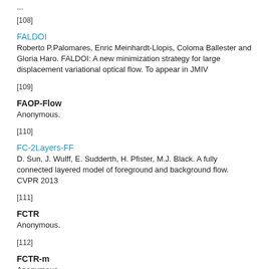...
[108]
FALDOI
Roberto P.Palomares, Enric Meinhardt-Llopis, Coloma Ballester and Gloria Haro. FALDOI: A new minimization strategy for large displacement variational optical flow. To appear in JMIV
[109]
FAOP-Flow
Anonymous.
[110]
FC-2Layers-FF
D. Sun, J. Wulff, E. Sudderth, H. Pfister, M.J. Black. A fully connected layered model of foreground and background flow. CVPR 2013
[111]
FCTR
Anonymous.
[112]
FCTR-m
Anonymous.
[113]